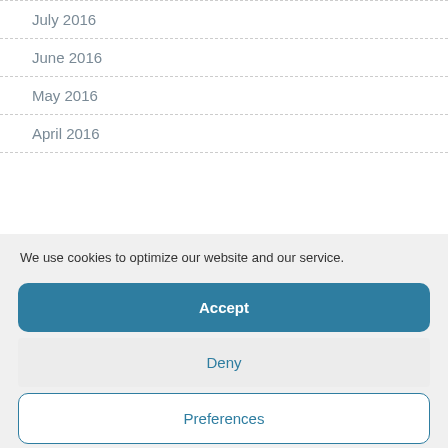July 2016
June 2016
May 2016
April 2016
We use cookies to optimize our website and our service.
Accept
Deny
Preferences